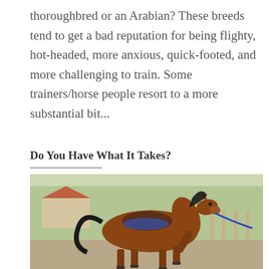thoroughbred or an Arabian? These breeds tend to get a bad reputation for being flighty, hot-headed, more anxious, quick-footed, and more challenging to train. Some trainers/horse people resort to a more substantial bit...
Do You Have What It Takes?
[Figure (photo): A chestnut/bay horse wearing a western saddle with blue saddle pad, trotting or cantering on a sandy surface. The horse has a dark flowing mane and tail. A blue lead rope is attached. Background shows trees, a white building, and a fence.]